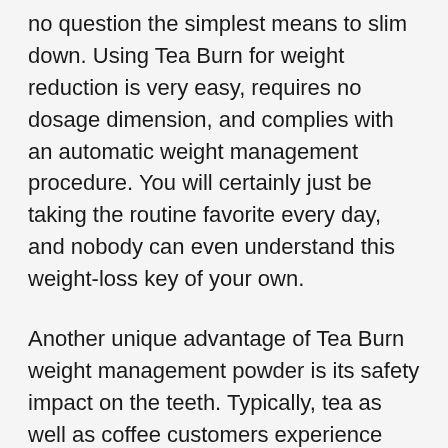no question the simplest means to slim down. Using Tea Burn for weight reduction is very easy, requires no dosage dimension, and complies with an automatic weight management procedure. You will certainly just be taking the routine favorite every day, and nobody can even understand this weight-loss key of your own.
Another unique advantage of Tea Burn weight management powder is its safety impact on the teeth. Typically, tea as well as coffee customers experience yellowing teeth and high levels of caffeine stains that make their smiles look bad. Yet the ingredients in this supplement stabilize the results of tannins from the tea, which is behind these tea discolorations. At some point, the